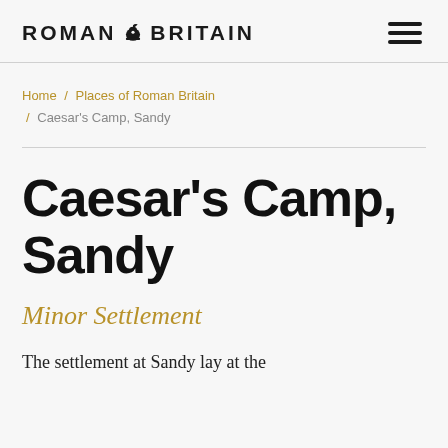ROMAN BRITAIN
Home / Places of Roman Britain / Caesar's Camp, Sandy
Caesar's Camp, Sandy
Minor Settlement
The settlement at Sandy lay at the